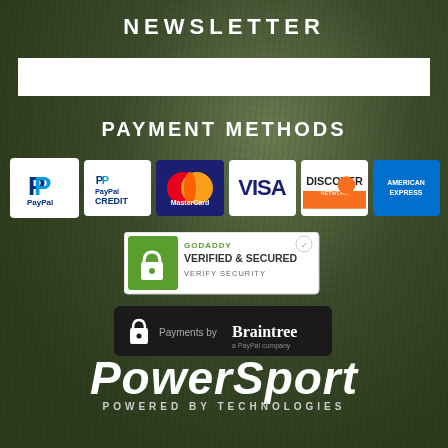NEWSLETTER
[Figure (other): Email input field (white rectangle)]
PAYMENT METHODS
[Figure (infographic): Payment method logos: PayPal, PayPal Credit, MasterCard, VISA, Discover Network, American Express]
[Figure (logo): GoDaddy Verified & Secured badge with 'VERIFY SECURITY' text]
[Figure (logo): Payments by Braintree (a PayPal company) badge with lock icon]
[Figure (logo): PowerSport Technologies logo with 'POWERED BY TECHNOLOGIES' text]